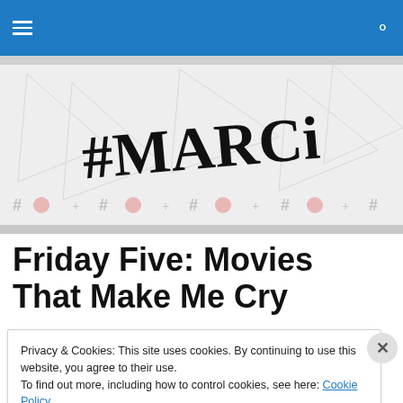Navigation bar with hamburger menu and search icon
[Figure (illustration): #MARCi handwritten logo on a light patterned banner background with hashtag and circle decorative elements]
Friday Five: Movies That Make Me Cry
Privacy & Cookies: This site uses cookies. By continuing to use this website, you agree to their use.
To find out more, including how to control cookies, see here: Cookie Policy
Close and accept